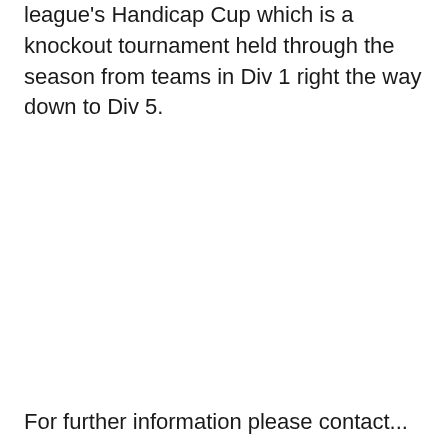league's Handicap Cup which is a knockout tournament held through the season from teams in Div 1 right the way down to Div 5.
For further information please contact...